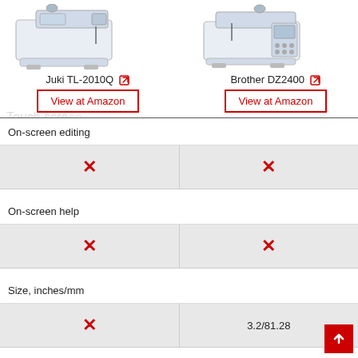[Figure (photo): Juki TL-2010Q sewing machine photo]
Juki TL-2010Q ↗
View at Amazon
[Figure (photo): Brother DZ2400 sewing machine photo]
Brother DZ2400 ↗
View at Amazon
| Juki TL-2010Q | Brother DZ2400 |
| --- | --- |
| On-screen editing |  |
| ✗ | ✗ |
| On-screen help |  |
| ✗ | ✗ |
| Size, inches/mm |  |
| ✗ | 3.2/81.28 |